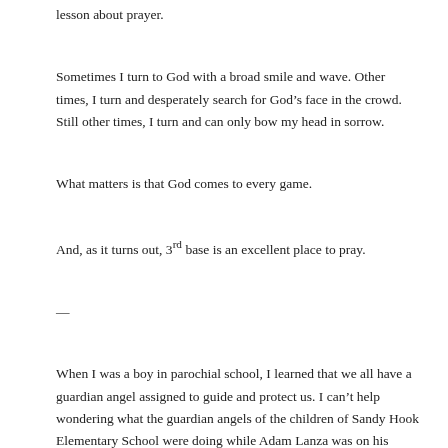lesson about prayer.
Sometimes I turn to God with a broad smile and wave. Other times, I turn and desperately search for God’s face in the crowd. Still other times, I turn and can only bow my head in sorrow.
What matters is that God comes to every game.
And, as it turns out, 3rd base is an excellent place to pray.
—
When I was a boy in parochial school, I learned that we all have a guardian angel assigned to guide and protect us. I can’t help wondering what the guardian angels of the children of Sandy Hook Elementary School were doing while Adam Lanza was on his hellish rampage.
—